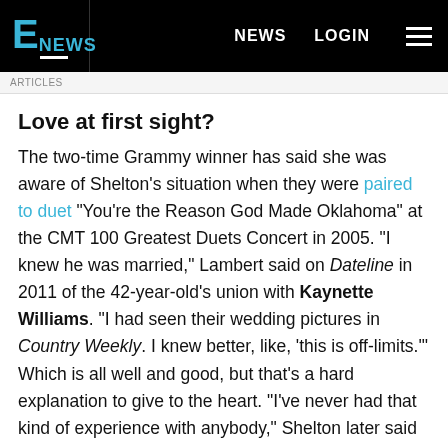E NEWS | NEWS | LOGIN
Love at first sight?
The two-time Grammy winner has said she was aware of Shelton's situation when they were paired to duet "You're the Reason God Made Oklahoma" at the CMT 100 Greatest Duets Concert in 2005. "I knew he was married," Lambert said on Dateline in 2011 of the 42-year-old's union with Kaynette Williams. "I had seen their wedding pictures in Country Weekly. I knew better, like, 'this is off-limits.'" Which is all well and good, but that's a hard explanation to give to the heart. "I've never had that kind of experience with anybody," Shelton later said on VH1's Behind the Music. "I was a married guy, you